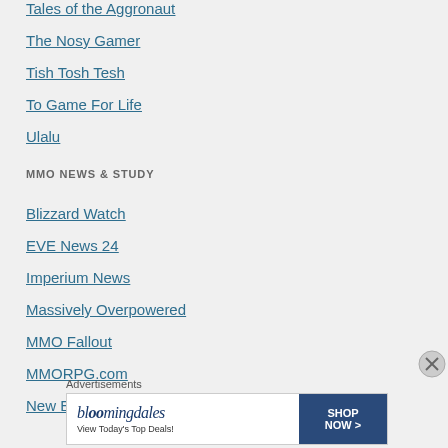Tales of the Aggronaut
The Nosy Gamer
Tish Tosh Tesh
To Game For Life
Ulalu
MMO NEWS & STUDY
Blizzard Watch
EVE News 24
Imperium News
Massively Overpowered
MMO Fallout
MMORPG.com
New Eden Post
Advertisements
[Figure (other): Bloomingdale's advertisement banner: 'View Today's Top Deals! SHOP NOW >']